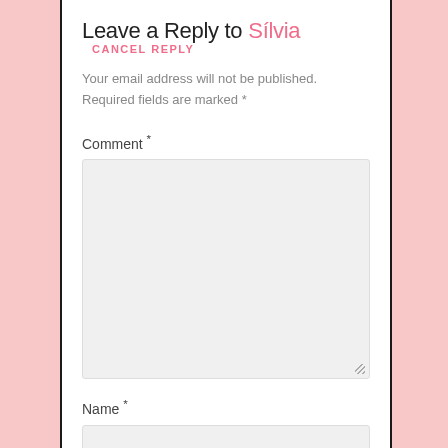Leave a Reply to Sílvia  CANCEL REPLY
Your email address will not be published. Required fields are marked *
Comment *
Name *